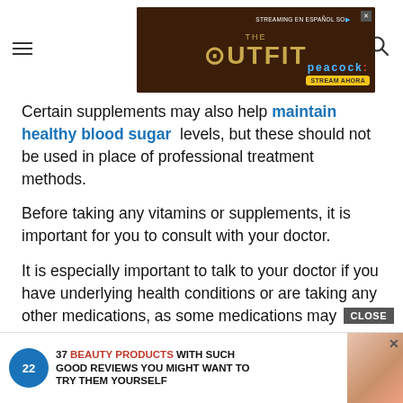[Figure (screenshot): Website page header with hamburger menu icon on the left, a 'THE OUTFIT' Peacock streaming advertisement banner in the center, and a search icon on the right]
Certain supplements may also help maintain healthy blood sugar levels, but these should not be used in place of professional treatment methods.
Before taking any vitamins or supplements, it is important for you to consult with your doctor.
It is especially important to talk to your doctor if you have underlying health conditions or are taking any other medications, as some medications may interact when combined, or may not be recommended for use by people with certain health conditions.
Your doctor can also advise you regarding what ... st dose of ... ou to come i
[Figure (screenshot): Bottom advertisement overlay: '37 BEAUTY PRODUCTS WITH SUCH GOOD REVIEWS YOU MIGHT WANT TO TRY THEM YOURSELF' with 22 Words badge and CLOSE button]